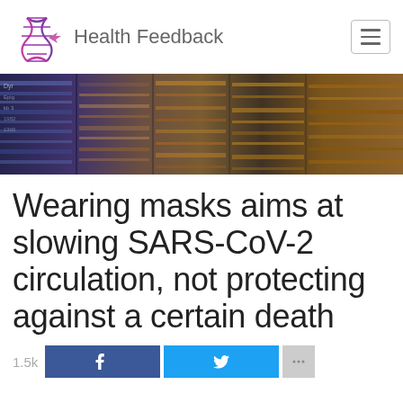Health Feedback
[Figure (photo): DNA gel electrophoresis bands in blue, purple, orange and brown tones — a scientific banner image]
Wearing masks aims at slowing SARS-CoV-2 circulation, not protecting against a certain death